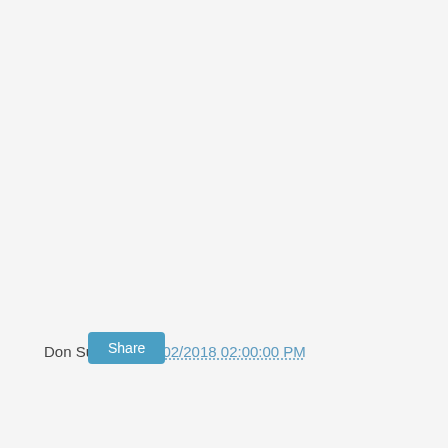Don Surber at 12/02/2018 02:00:00 PM
Share